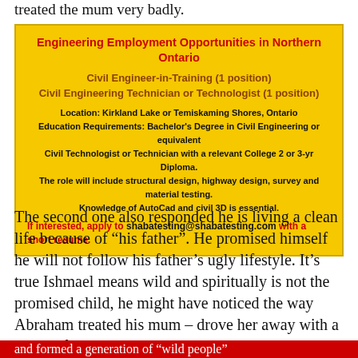treated the mum very badly.
[Figure (other): Job advertisement box with yellow background for Engineering Employment Opportunities in Northern Ontario. Lists Civil Engineer-in-Training (1 position) and Civil Engineering Technician or Technologist (1 position). Location: Kirkland Lake or Temiskaming Shores, Ontario. Education Requirements and role description included. Contact: shabatesting@shabatesting.com]
The second one also responded he is living a clean life because of “his father”. He promised himself he will not follow his father’s ugly lifestyle. It’s true Ishmael means wild and spiritually is not the promised child, he might have noticed the way Abraham treated his mum – drove her away with a bottle of water and so he
and formed a generation of “wild people”